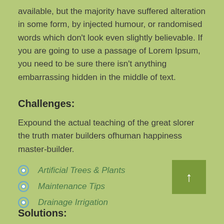available, but the majority have suffered alteration in some form, by injected humour, or randomised words which don't look even slightly believable. If you are going to use a passage of Lorem Ipsum, you need to be sure there isn't anything embarrassing hidden in the middle of text.
Challenges:
Expound the actual teaching of the great slorer the truth mater builders ofhuman happiness master-builder.
Artificial Trees & Plants
Maintenance Tips
Drainage Irrigation
Solutions: